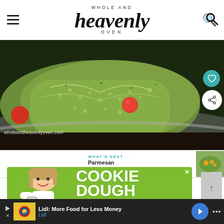Whole and Heavenly Oven
[Figure (photo): Close-up photo of a green pesto pasta dish with cherry tomatoes in a pan, with the watermark 'wholeandheavenlyoven.com']
WHAT'S NEXT → Parmesan Zucchini...
[Figure (photo): Advertisement with a green background showing a child and text 'COOKIE DOUGH' and 'Childhood cancer']
Lidl: More Food for Less Money — Lidl